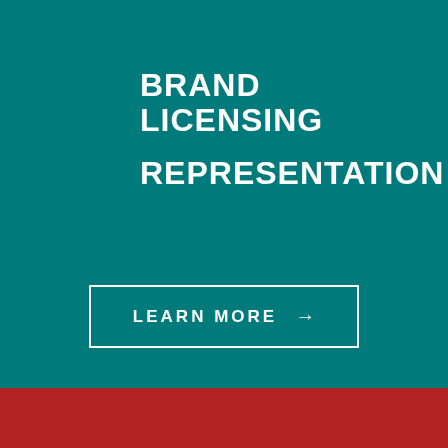BRAND LICENSING REPRESENTATION
[Figure (other): Button with white border containing text LEARN MORE and right arrow on teal background]